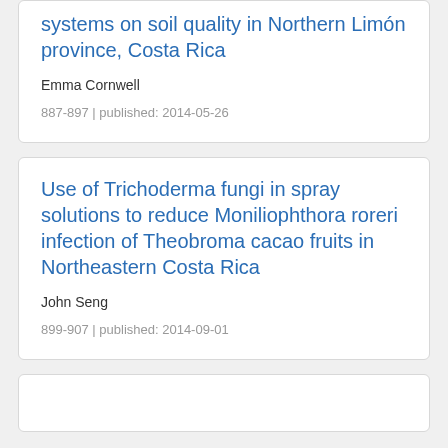systems on soil quality in Northern Limón province, Costa Rica
Emma Cornwell
887-897 | published: 2014-05-26
Use of Trichoderma fungi in spray solutions to reduce Moniliophthora roreri infection of Theobroma cacao fruits in Northeastern Costa Rica
John Seng
899-907 | published: 2014-09-01